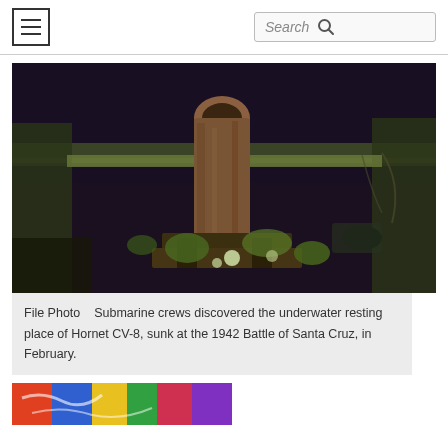Menu / Search
[Figure (photo): Underwater photo of a rusted gun barrel from the wreck of USS Hornet CV-8, with marine growth and dark water surroundings]
File Photo   Submarine crews discovered the underwater resting place of Hornet CV-8, sunk at the 1942 Battle of Santa Cruz, in February.
[Figure (photo): Partial colorful image visible at bottom of page]